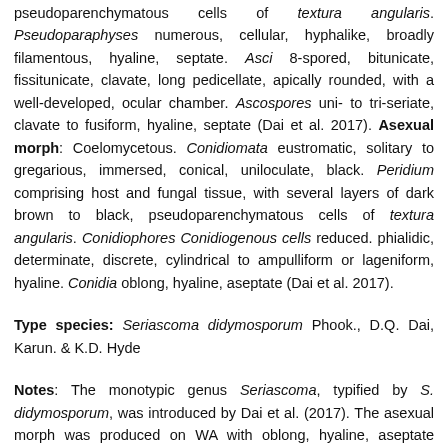pseudoparenchymatous cells of textura angularis. Pseudoparaphyses numerous, cellular, hyphalike, broadly filamentous, hyaline, septate. Asci 8-spored, bitunicate, fissitunicate, clavate, long pedicellate, apically rounded, with a well-developed, ocular chamber. Ascospores uni- to tri-seriate, clavate to fusiform, hyaline, septate (Dai et al. 2017). Asexual morph: Coelomycetous. Conidiomata eustromatic, solitary to gregarious, immersed, conical, uniloculate, black. Peridium comprising host and fungal tissue, with several layers of dark brown to black, pseudoparenchymatous cells of textura angularis. Conidiophores Conidiogenous cells reduced. phialidic, determinate, discrete, cylindrical to ampulliform or lageniform, hyaline. Conidia oblong, hyaline, aseptate (Dai et al. 2017).
Type species: Seriascoma didymosporum Phook., D.Q. Dai, Karun. & K.D. Hyde
Notes: The monotypic genus Seriascoma, typified by S. didymosporum, was introduced by Dai et al. (2017). The asexual morph was produced on WA with oblong, hyaline, aseptate conidia, which are similar to Occultibambusa fusispora (Dai et al. 2017). However, the sexual morph of